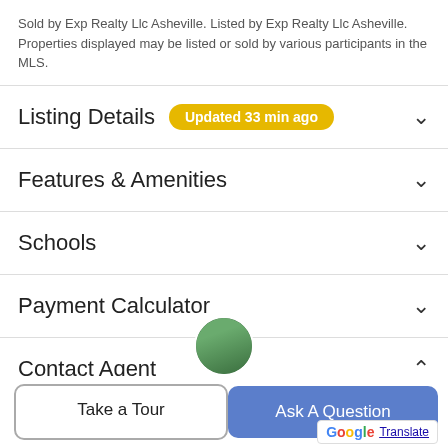Sold by Exp Realty Llc Asheville. Listed by Exp Realty Llc Asheville. Properties displayed may be listed or sold by various participants in the MLS.
Listing Details  Updated 33 min ago
Features & Amenities
Schools
Payment Calculator
Contact Agent
[Figure (photo): Partial view of contact agent's profile photo (circular avatar, green tones)]
Take a Tour
Ask A Question
Translate